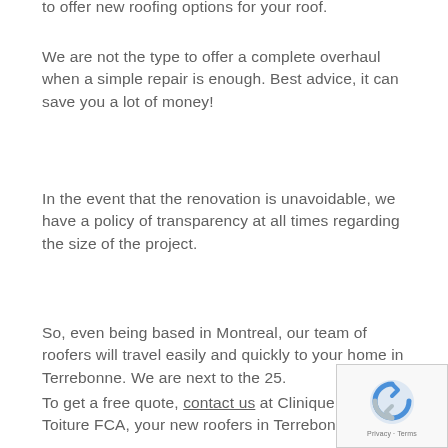to offer new roofing options for your roof.
We are not the type to offer a complete overhaul when a simple repair is enough. Best advice, it can save you a lot of money!
In the event that the renovation is unavoidable, we have a policy of transparency at all times regarding the size of the project.
So, even being based in Montreal, our team of roofers will travel easily and quickly to your home in Terrebonne. We are next to the 25.
To get a free quote, contact us at Clinique la Toiture FCA, your new roofers in Terrebonne.